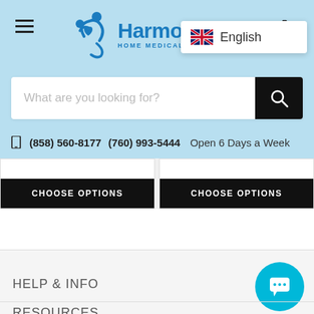[Figure (screenshot): Harmony Home Medical Supply website header with logo, language selector showing English with UK flag, search bar, phone numbers, and navigation elements]
(858) 560-8177   (760) 993-5444   Open 6 Days a Week
CHOOSE OPTIONS  CHOOSE OPTIONS
HELP & INFO
RESOURCES